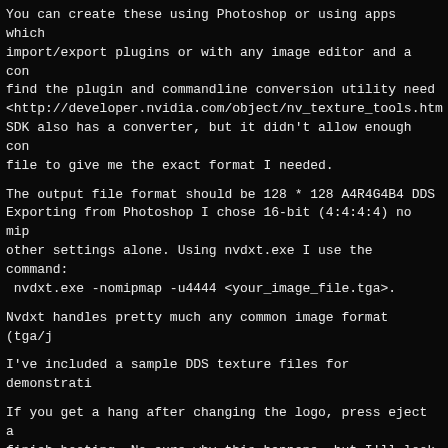You can create these using Photoshop or using apps which import/export plugins or with any image editor and a con find the plugin and commandline conversion utility need <http://developer.nvidia.com/object/nv_texture_tools.htm SDK also has a converter, but it didn't allow enough con file to give me the exact format I needed.
The output file format should be 128 * 128 A4R4G4B4 DDS Exporting from Photoshop I chose 16-bit (4:4:4:4) no mip other settings alone. Using nvdxt.exe I use the command:  nvdxt.exe -nomipmap -u4444 <your_image_file.tga>.
Nvdxt handles pretty much any common image format (tga/j
I've included a sample DDS texture files for demonstrati
If you get a hang after changing the logo, press eject a finish booting. No sure why this happens, but I'll look
================================================================
History
1.0.9
Fixed failure to patch in IGR code on newly supported ke Removed support for outdated BIOS's (only M8+ and meetoo
1.0.8